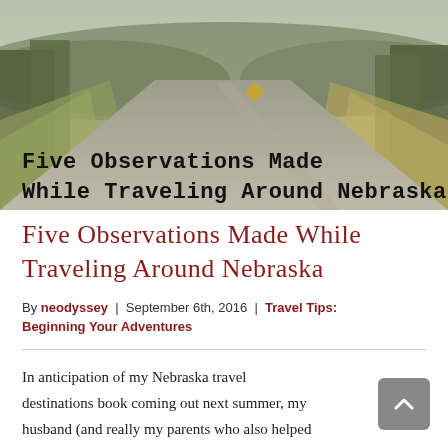[Figure (photo): A rural gravel road stretching into the distance, lined with trees and golden grass, with forested hills in the background under a hazy sky.]
Five Observations Made While Traveling Around Nebraska
Five Observations Made While Traveling Around Nebraska
By neodyssey | September 6th, 2016 | Travel Tips: Beginning Your Adventures
In anticipation of my Nebraska travel destinations book coming out next summer, my husband (and really my parents who also helped